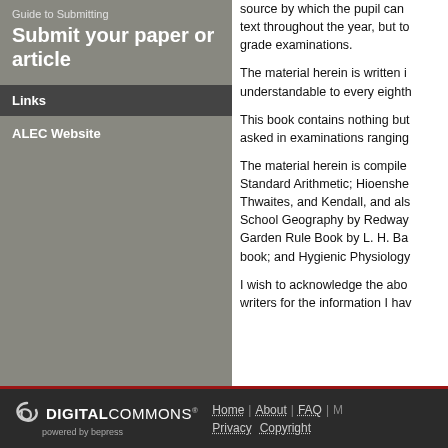Guide to Submitting
Submit your paper or article
Links
ALEC Website
source by which the pupil can text throughout the year, but to grade examinations.
The material herein is written i understandable to every eighth
This book contains nothing but asked in examinations ranging
The material herein is compiled Standard Arithmetic; Hioenshe Thwaites, and Kendall, and als School Geography by Redway Garden Rule Book by L. H. Ba book; and Hygienic Physiology
I wish to acknowledge the abo writers for the information I hav
Home | About | FAQ | M Privacy Copyright